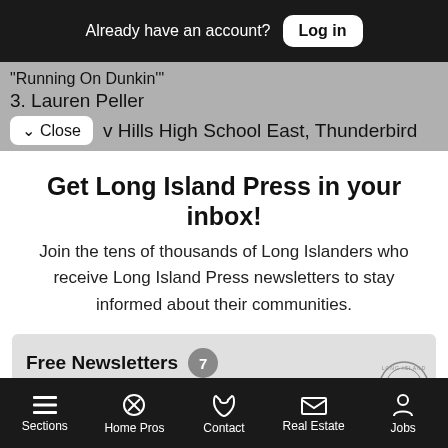Already have an account? Log in
"Running On Dunkin'"
3. Lauren Peller
✓ Close   v Hills High School East, Thunderbird
Get Long Island Press in your inbox!
Join the tens of thousands of Long Islanders who receive Long Island Press newsletters to stay informed about their communities.
Free Newsletters 7
The Daily
Sections   Home Pros   Contact   Real Estate   Jobs